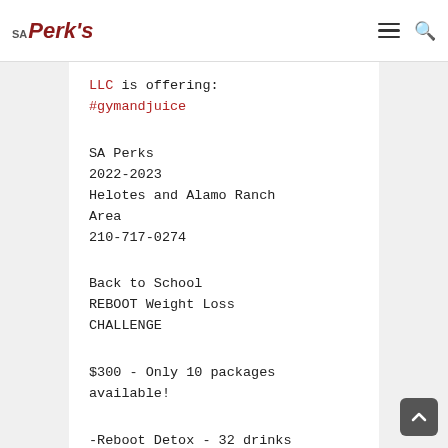SA Perk's
LLC is offering:
#gymandjuice
SA Perks
2022-2023
Helotes and Alamo Ranch Area
210-717-0274
Back to School REBOOT Weight Loss CHALLENGE
$300 - Only 10 packages available!
-Reboot Detox - 32 drinks
-3 Day Cleanse (15 Juices/Detox Tonics)